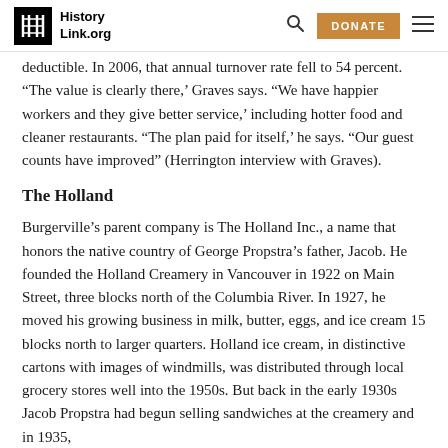HistoryLink.org
deductible. In 2006, that annual turnover rate fell to 54 percent. “The value is clearly there,’ Graves says. “We have happier workers and they give better service,’ including hotter food and cleaner restaurants. “The plan paid for itself,’ he says. “Our guest counts have improved” (Herrington interview with Graves).
The Holland
Burgerville’s parent company is The Holland Inc., a name that honors the native country of George Propstra’s father, Jacob. He founded the Holland Creamery in Vancouver in 1922 on Main Street, three blocks north of the Columbia River. In 1927, he moved his growing business in milk, butter, eggs, and ice cream 15 blocks north to larger quarters. Holland ice cream, in distinctive cartons with images of windmills, was distributed through local grocery stores well into the 1950s. But back in the early 1930s Jacob Propstra had begun selling sandwiches at the creamery and in 1935,